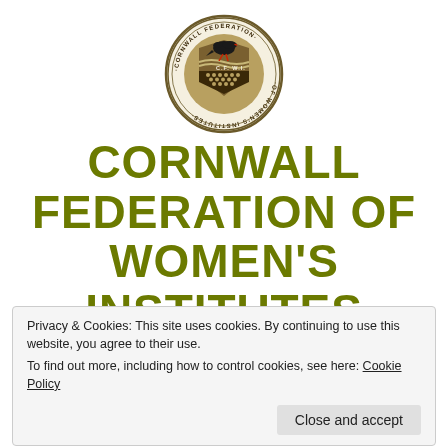[Figure (logo): Cornwall Federation of Women's Institutes circular badge/logo with a chough bird on a heraldic shield, text around the border reading 'CORNWALL FEDERATION OF WOMEN'S INSTITUTES' and 'C.F. W.I.' in the center]
CORNWALL FEDERATION OF WOMEN'S INSTITUTES
[Figure (infographic): Three social media icons: Facebook (blue circle with f), Twitter (blue bird), Instagram (camera outline in circle)]
Privacy & Cookies: This site uses cookies. By continuing to use this website, you agree to their use.
To find out more, including how to control cookies, see here: Cookie Policy